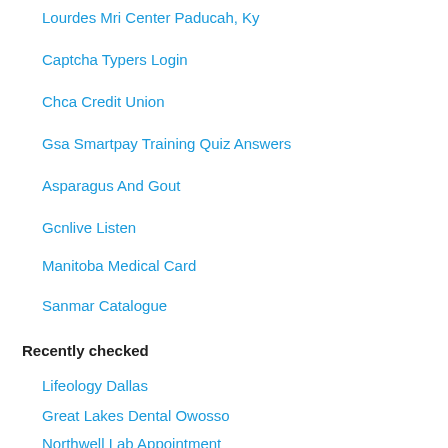Lourdes Mri Center Paducah, Ky
Captcha Typers Login
Chca Credit Union
Gsa Smartpay Training Quiz Answers
Asparagus And Gout
Gcnlive Listen
Manitoba Medical Card
Sanmar Catalogue
Recently checked
Lifeology Dallas
Great Lakes Dental Owosso
Northwell Lab Appointment